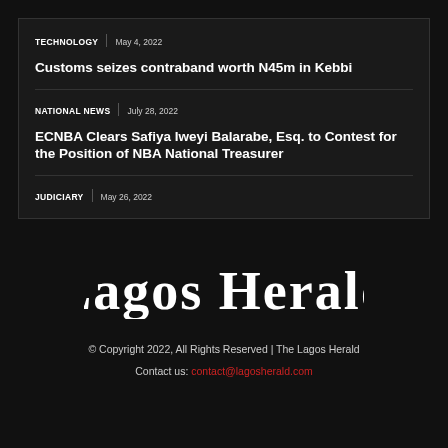TECHNOLOGY | May 4, 2022
Customs seizes contraband worth N45m in Kebbi
NATIONAL NEWS | July 28, 2022
ECNBA Clears Safiya Iweyi Balarabe, Esq. to Contest for the Position of NBA National Treasurer
JUDICIARY | May 26, 2022
[Figure (logo): Lagos Herald newspaper logo in Old English blackletter style, white text on dark background]
© Copyright 2022, All Rights Reserved | The Lagos Herald
Contact us: contact@lagosherald.com